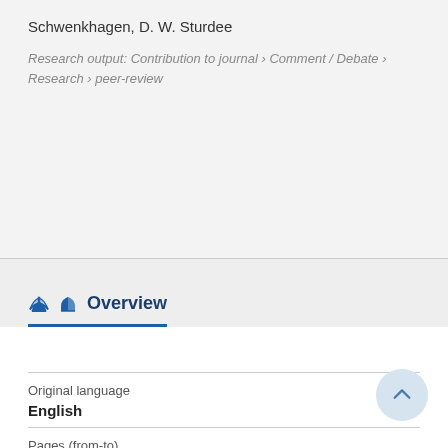Schwenkhagen, D. W. Sturdee
Research output: Contribution to journal › Comment / Debate › Research › peer-review
Overview
Original language
English
Pages (from-to)